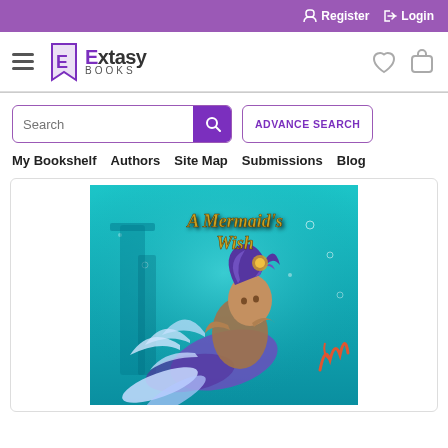Register   Login
[Figure (logo): Extasy Books logo with hamburger menu icon, heart icon, and bag icon]
[Figure (other): Search bar with text input and purple search button, plus Advance Search button]
My Bookshelf   Authors   Site Map   Submissions   Blog
[Figure (illustration): Book cover for 'A Mermaid's Wish' showing a mermaid underwater with teal/cyan background]